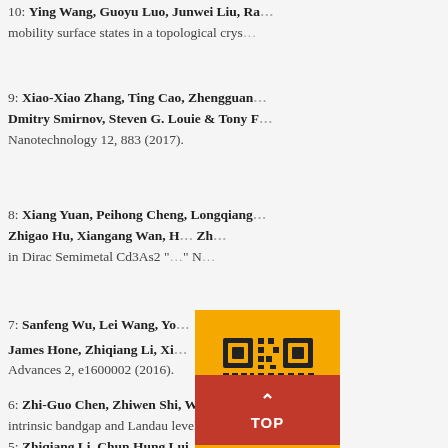10: Ying Wang, Guoyu Luo, Junwei Liu, Ra... mobility surface states in a topological crys...
9: Xiao-Xiao Zhang, Ting Cao, Zhengguan... Dmitry Smirnov, Steven G. Louie & Tony F... Nanotechnology 12, 883 (2017).
8: Xiang Yuan, Peihong Cheng, Longqiang... Zhigao Hu, Xiangang Wan, H... Zh... in Dirac Semimetal Cd3As2 "..." N...
7: Sanfeng Wu, Lei Wang, Yo... h-Yu... James Hone, Zhiqiang Li, Xi... "M... Advances 2, e1600002 (2016).
6: Zhi-Guo Chen, Zhiwen Shi, Wei Yang, X... intrinsic bandgap and Landau level renorma...
5: Zhiqiang Li, Chun Hung Lui, Emmanuel...